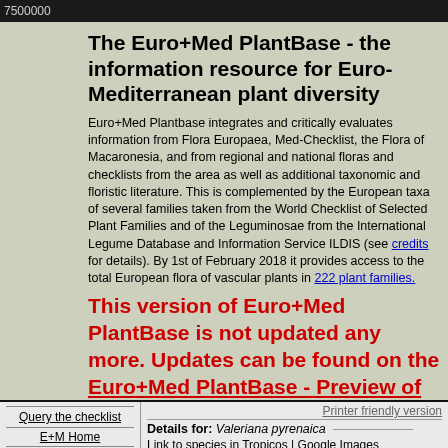7500000
The Euro+Med PlantBase - the information resource for Euro-Mediterranean plant diversity
Euro+Med Plantbase integrates and critically evaluates information from Flora Europaea, Med-Checklist, the Flora of Macaronesia, and from regional and national floras and checklists from the area as well as additional taxonomic and floristic literature. This is complemented by the European taxa of several families taken from the World Checklist of Selected Plant Families and of the Leguminosae from the International Legume Database and Information Service ILDIS (see credits for details). By 1st of February 2018 it provides access to the total European flora of vascular plants in 222 plant families.
This version of Euro+Med PlantBase is not updated any more. Updates can be found on the Euro+Med PlantBase - Preview of the new data portal.
Query the checklist
E+M Home
Printer friendly version
Details for: Valeriana pyrenaica
Link to species in Tropicos | Google Images